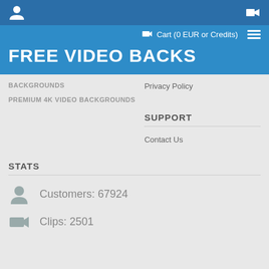FREE VIDEO BACKS (site header with cart and navigation)
FREE VIDEO BACKS
BACKGROUNDS
PREMIUM 4K VIDEO BACKGROUNDS
Privacy Policy
SUPPORT
Contact Us
STATS
Customers: 67924
Clips: 2501